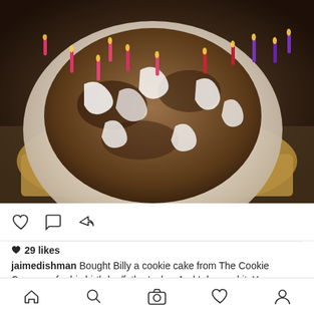[Figure (photo): A cookie cake with birthday candles (pink, red, and purple) and white whipped cream drizzle, sitting on a round white plate in a cardboard box. The cake appears dropped/messy.]
♥ 29 likes
jaimedishman Bought Billy a cookie cake from The Cookie Company for his birthday/father's day. And I dropped it. Yep. #Oops